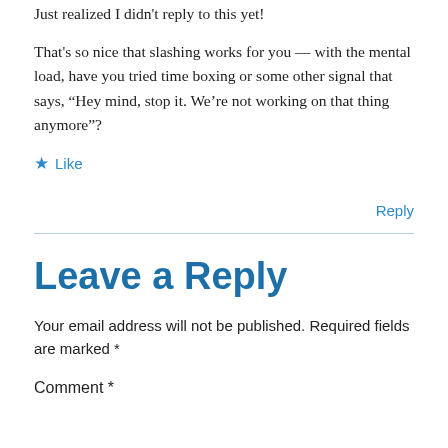Just realized I didn't reply to this yet!
That's so nice that slashing works for you — with the mental load, have you tried time boxing or some other signal that says, “Hey mind, stop it. We’re not working on that thing anymore”?
★ Like
Reply
Leave a Reply
Your email address will not be published. Required fields are marked *
Comment *